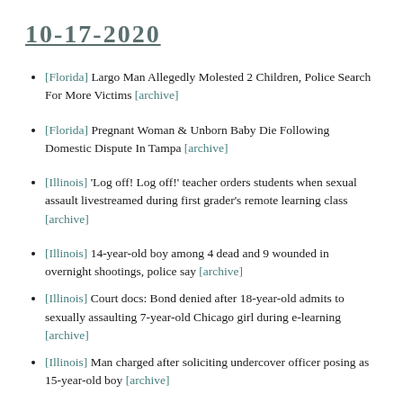10-17-2020
[Florida] Largo Man Allegedly Molested 2 Children, Police Search For More Victims [archive]
[Florida] Pregnant Woman & Unborn Baby Die Following Domestic Dispute In Tampa [archive]
[Illinois] 'Log off! Log off!' teacher orders students when sexual assault livestreamed during first grader's remote learning class [archive]
[Illinois] 14-year-old boy among 4 dead and 9 wounded in overnight shootings, police say [archive]
[Illinois] Court docs: Bond denied after 18-year-old admits to sexually assaulting 7-year-old Chicago girl during e-learning [archive]
[Illinois] Man charged after soliciting undercover officer posing as 15-year-old boy [archive]
[Illinois] Man, 51, charged with trying to get 15-year-old to